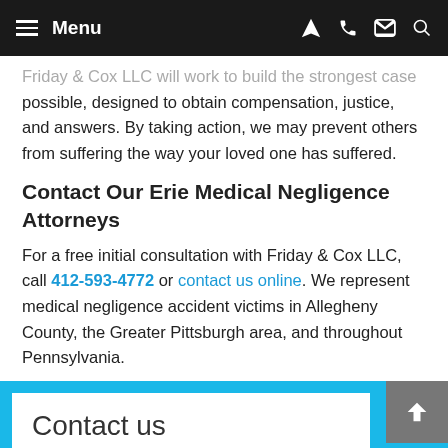Menu
Friday & Cox LLC will work to build the strongest case possible, designed to obtain compensation, justice, and answers. By taking action, we may prevent others from suffering the way your loved one has suffered.
Contact Our Erie Medical Negligence Attorneys
For a free initial consultation with Friday & Cox LLC, call 412-593-4772 or contact us online. We represent medical negligence accident victims in Allegheny County, the Greater Pittsburgh area, and throughout Pennsylvania.
Contact us
Please fill out the form below and one of our attorneys will contact you.